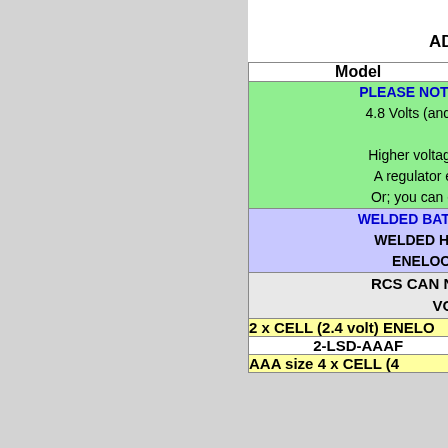A SELECTION OF R... ADD ON MULTI FUNCTION...
| Model | Price |
| --- | --- |
| PLEASE NOTE. Some Rx's... 4.8 Volts (and up to 8 volts... Higher voltage batteries o... A regulator eliminates R... Or; you can easily obtain... |  |
| WELDED BATTERY PACKS... WELDED HOBBY PAC... ENELOOP HYBR... |  |
| RCS CAN NOW SUPP... VOL... |  |
| 2 x CELL (2.4 volt) ENELO... |  |
| 2-LSD-AAAF | $39 |
| AAA size 4 x CELL (4... |  |